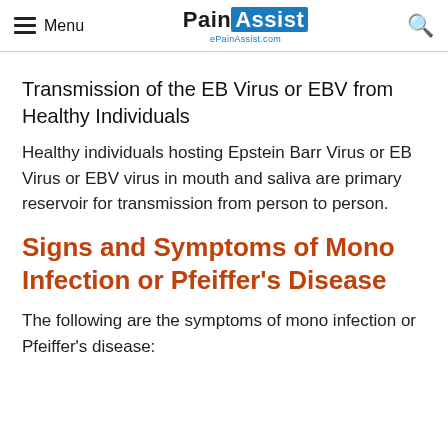Menu | PainAssist ePainAssist.com
Transmission of the EB Virus or EBV from Healthy Individuals
Healthy individuals hosting Epstein Barr Virus or EB Virus or EBV virus in mouth and saliva are primary reservoir for transmission from person to person.
Signs and Symptoms of Mono Infection or Pfeiffer's Disease
The following are the symptoms of mono infection or Pfeiffer's disease: